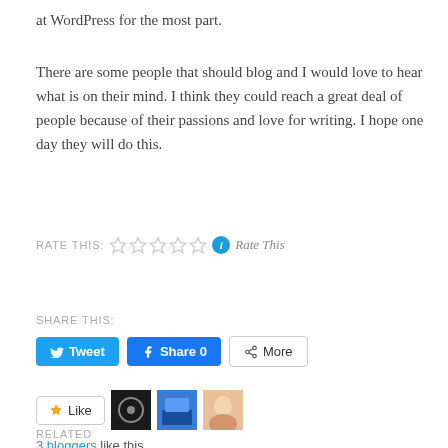at WordPress for the most part.
There are some people that should blog and I would love to hear what is on their mind. I think they could reach a great deal of people because of their passions and love for writing. I hope one day they will do this.
RATE THIS: ☆☆☆☆☆ ⓘ Rate This
SHARE THIS:
Tweet  Share 0  More
Like  [avatars]  3 bloggers like this.
RELATED